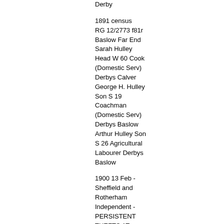Derby
1891 census RG 12/2773 f81r Baslow Far End Sarah Hulley Head W 60 Cook (Domestic Serv) Derbys Calver George H. Hulley Son S 19 Coachman (Domestic Serv) Derbys Baslow Arthur Hulley Son S 26 Agricultural Labourer Derbys Baslow
1900 13 Feb - Sheffield and Rotherham Independent - PERSISTENT THEFTS AT BASLOW. At the Bakewell Town Hall yesterday, before Messrs. William Redfern and J